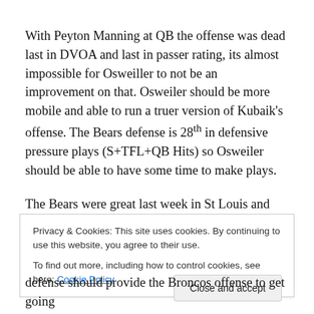With Peyton Manning at QB the offense was dead last in DVOA and last in passer rating, its almost impossible for Osweiller to not be an improvement on that. Osweiler should be more mobile and able to run a truer version of Kubaik's offense. The Bears defense is 28th in defensive pressure plays (S+TFL+QB Hits) so Osweiler should be able to have some time to make plays.
The Bears were great last week in St Louis and Jay Cutler
Privacy & Cookies: This site uses cookies. By continuing to use this website, you agree to their use. To find out more, including how to control cookies, see here: Cookie Policy
Close and accept
defense should provide the Broncos offense to get going